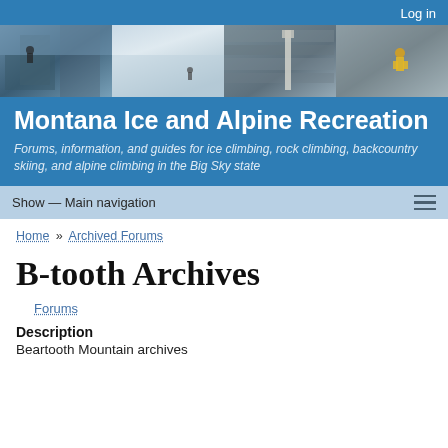Log in
[Figure (photo): Banner with four mountain/climbing photos: rocky cliff with climber, snow-covered slope with skier, stone wall with trail marker, rock face with climber in yellow jacket]
Montana Ice and Alpine Recreation
Forums, information, and guides for ice climbing, rock climbing, backcountry skiing, and alpine climbing in the Big Sky state
Show — Main navigation
Home » Archived Forums
B-tooth Archives
Forums
Description
Beartooth Mountain archives